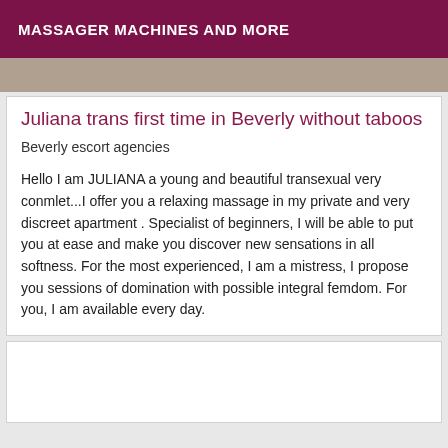MASSAGER MACHINES AND MORE
[Figure (photo): Partial photo visible as image strip at top of content area]
Juliana trans first time in Beverly without taboos
Beverly escort agencies
Hello I am JULIANA a young and beautiful transexual very conmlet...I offer you a relaxing massage in my private and very discreet apartment . Specialist of beginners, I will be able to put you at ease and make you discover new sensations in all softness. For the most experienced, I am a mistress, I propose you sessions of domination with possible integral femdom. For you, I am available every day.